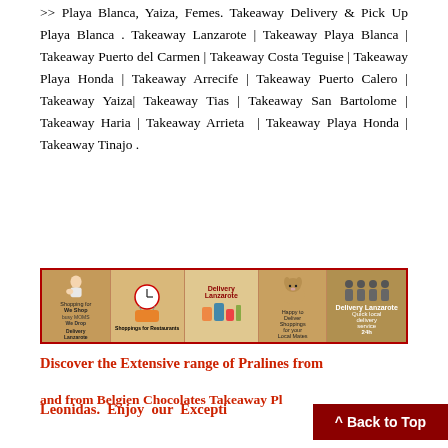>> Playa Blanca, Yaiza, Femes. Takeaway Delivery & Pick Up Playa Blanca . Takeaway Lanzarote | Takeaway Playa Blanca | Takeaway Puerto del Carmen | Takeaway Costa Teguise | Takeaway Playa Honda | Takeaway Arrecife | Takeaway Puerto Calero | Takeaway Yaiza| Takeaway Tias | Takeaway San Bartolome | Takeaway Haria | Takeaway Arrieta | Takeaway Playa Honda | Takeaway Tinajo .
[Figure (infographic): Horizontal banner advertisement for Delivery Lanzarote showing shopping/delivery services with images of a woman with baby, food items, a dog, people silhouettes, and text about quick local delivery service.]
Discover the Extensive range of Pralines from Leonidas. Enjoy our Exceptional Service and before Belgien Chocolates Takeaway Pl...